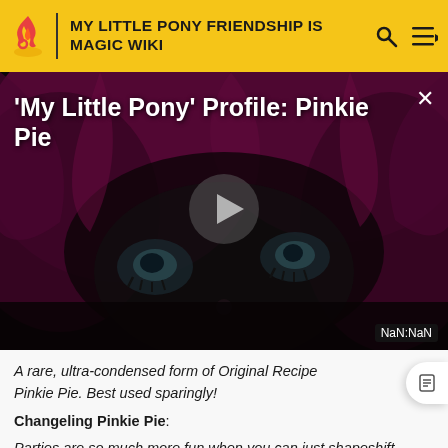MY LITTLE PONY FRIENDSHIP IS MAGIC WIKI
[Figure (screenshot): Video thumbnail showing Pinkie Pie from My Little Pony with title 'My Little Pony' Profile: Pinkie Pie and a play button in the center. Timestamp shows NaN:NaN.]
A rare, ultra-condensed form of Original Recipe Pinkie Pie. Best used sparingly!
Changeling Pinkie Pie:
Parties are so much more fun when you can just shapeshift into the cannon from the get-go.